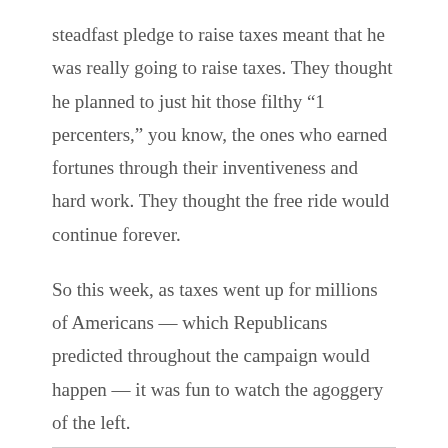steadfast pledge to raise taxes meant that he was really going to raise taxes. They thought he planned to just hit those filthy “1 percenters,” you know, the ones who earned fortunes through their inventiveness and hard work. They thought the free ride would continue forever.
So this week, as taxes went up for millions of Americans — which Republicans predicted throughout the campaign would happen — it was fun to watch the agoggery of the left.
Read more.